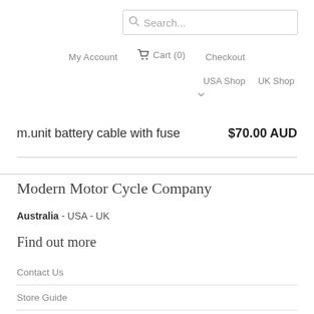Search...
My Account   Cart (0)   Checkout
USA Shop   UK Shop
m.unit battery cable with fuse   $70.00 AUD
Modern Motor Cycle Company
Australia - USA - UK
Find out more
Contact Us
Store Guide
The Workshop